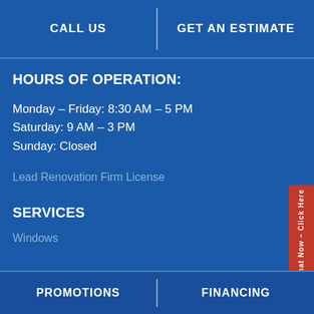CALL US | GET AN ESTIMATE
HOURS OF OPERATION:
Monday – Friday: 8:30 AM – 5 PM
Saturday: 9 AM – 3 PM
Sunday: Closed
Lead Renovation Firm License
SERVICES
Windows
PROMOTIONS | FINANCING